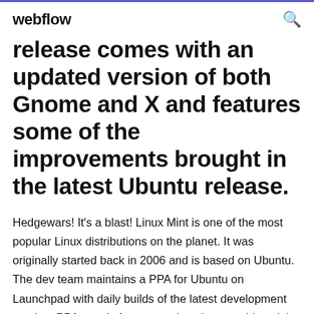webflow
release comes with an updated version of both Gnome and X and features some of the improvements brought in the latest Ubuntu release.
Hedgewars! It's a blast! Linux Mint is one of the most popular Linux distributions on the planet. It was originally started back in 2006 and is based on Ubuntu. The dev team maintains a PPA for Ubuntu on Launchpad with daily builds of the latest development version. PPA stands for personal package archive - it is essentially something you add to your apt sources.list and which will get queried when... Welcome to the